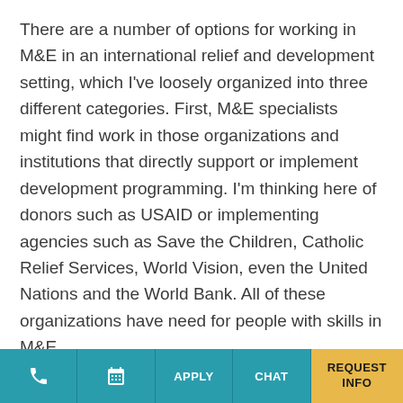There are a number of options for working in M&E in an international relief and development setting, which I've loosely organized into three different categories. First, M&E specialists might find work in those organizations and institutions that directly support or implement development programming. I'm thinking here of donors such as USAID or implementing agencies such as Save the Children, Catholic Relief Services, World Vision, even the United Nations and the World Bank. All of these organizations have need for people with skills in M&E.
Now within these organizations and institutions, there are a variety of roles M&E specialists might play. First, most headquarters offices have staff…
📞  📅  APPLY  CHAT  REQUEST INFO